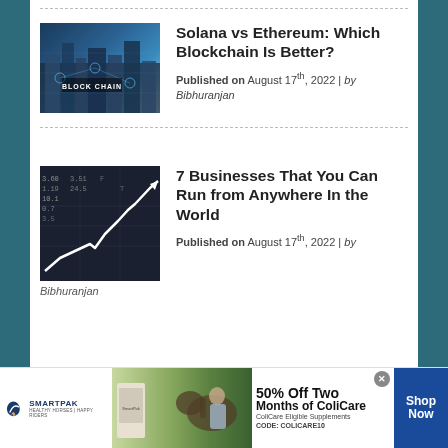Solana vs Ethereum: Which Blockchain Is Better?
Published on August 17th, 2022 | by Bibhuranjan
7 Businesses That You Can Run from Anywhere In the World
Published on August 17th, 2022 | by Bibhuranjan
[Figure (photo): Blockchain city image with 'BLOCK CHAIN' text overlay and digital network nodes]
[Figure (photo): Stock market chart with rising arrow line on financial data screen]
[Figure (photo): SmartPak advertisement - 50% Off Two Months of ColiCare, ColiCare Eligible Supplements, CODE: COLICARE10, Shop Now]